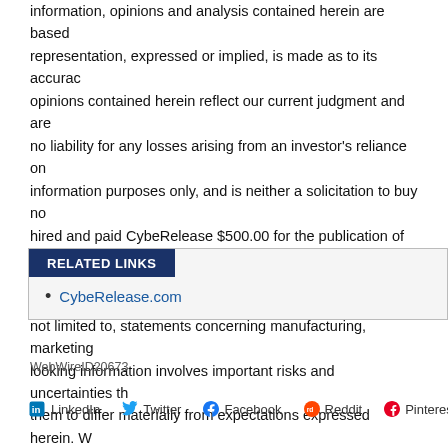information, opinions and analysis contained herein are based representation, expressed or implied, is made as to its accuracy opinions contained herein reflect our current judgment and are no liability for any losses arising from an investor's reliance on information purposes only, and is neither a solicitation to buy no hired and paid CybeRelease $500.00 for the publication of this is forward-looking within the meaning of the Private Securities L not limited to, statements concerning manufacturing, marketing looking information involves important risks and uncertainties th them to differ materially from expectations expressed herein. W representation and do no trading of any kind.
RELATED LINKS
CybeRelease.com
WebWireID20673
LinkedIn  Twitter  Facebook  Reddit  Pinterest